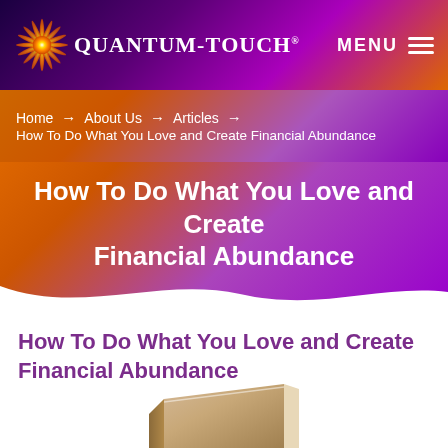QUANTUM-TOUCH® — MENU
Home → About Us → Articles → How To Do What You Love and Create Financial Abundance
How To Do What You Love and Create Financial Abundance
How To Do What You Love and Create Financial Abundance
[Figure (illustration): Partial view of a book at the bottom of the page]